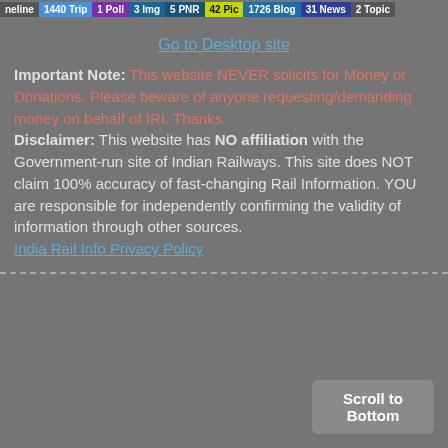neline 1440 Trip 1 Poll 3 Img 5 PNR 42 Pic 1726 Blog 31 News 2 Topic
Go to Desktop site
Important Note: This website NEVER solicits for Money or Donations. Please beware of anyone requesting/demanding money on behalf of IRI. Thanks. Disclaimer: This website has NO affiliation with the Government-run site of Indian Railways. This site does NOT claim 100% accuracy of fast-changing Rail Information. YOU are responsible for independently confirming the validity of information through other sources. India Rail Info Privacy Policy
Scroll to Bottom